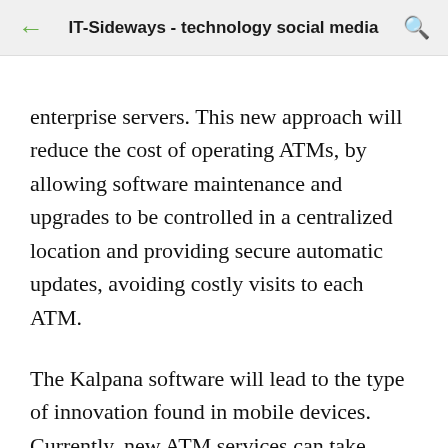IT-Sideways - technology social media
enterprise servers. This new approach will reduce the cost of operating ATMs, by allowing software maintenance and upgrades to be controlled in a centralized location and providing secure automatic updates, avoiding costly visits to each ATM.
The Kalpana software will lead to the type of innovation found in mobile devices. Currently, new ATM services can take months or years to bring to market as operators navigate through a myriad of vendors, including processors, switches,